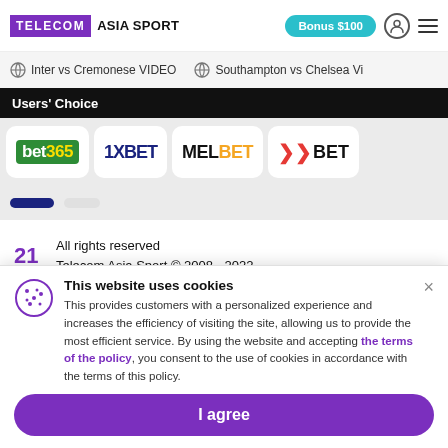TELECOM ASIA SPORT | Bonus $100
Inter vs Cremonese VIDEO   Southampton vs Chelsea VI
Users' Choice
[Figure (logo): Bookmaker logos row: bet365, 1XBET, MELBET, 22BET]
21
All rights reserved
Telecom Asia Sport © 2008 - 2022
Reprinting of materials without approval is possible in the
This website uses cookies
This provides customers with a personalized experience and increases the efficiency of visiting the site, allowing us to provide the most efficient service. By using the website and accepting the terms of the policy, you consent to the use of cookies in accordance with the terms of this policy.
I agree